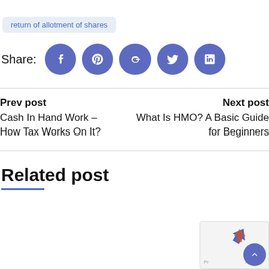return of allotment of shares
Share:
[Figure (other): Social sharing buttons: Facebook, Pinterest, Google+, Twitter, LinkedIn]
Prev post
Cash In Hand Work – How Tax Works On It?
Next post
What Is HMO? A Basic Guide for Beginners
Related post